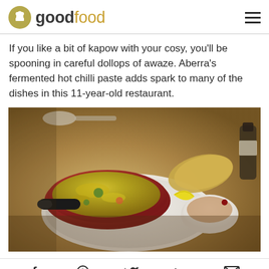goodfood
If you like a bit of kapow with your cosy, you'll be spooning in careful dollops of awaze. Aberra's fermented hot chilli paste adds spark to many of the dishes in this 11-year-old restaurant.
[Figure (photo): A bowl of yellow-green spiced broth/stew on a white plate, with flatbread (injera), a small bowl of spice, lemon wedge, and a bottle in the background, shot on a rustic table]
f  P  (Twitter bird)  in  (envelope)